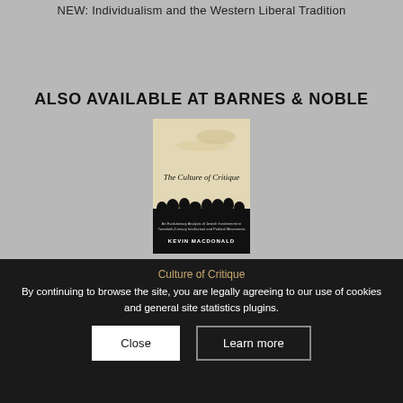NEW: Individualism and the Western Liberal Tradition
ALSO AVAILABLE AT BARNES & NOBLE
[Figure (photo): Book cover of 'The Culture of Critique' by Kevin MacDonald, showing a silhouette of a crowd at the bottom against a beige/cream background with the title text.]
Culture of Critique
By continuing to browse the site, you are legally agreeing to our use of cookies and general site statistics plugins.
Close   Learn more